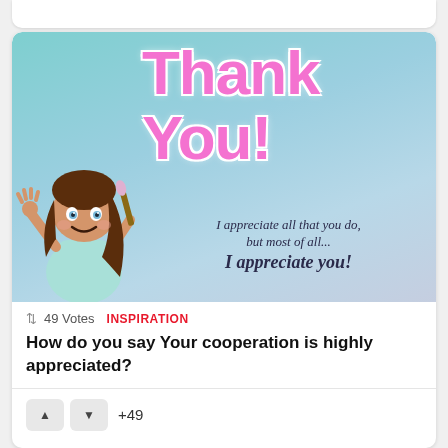[Figure (illustration): Thank You card illustration with pink 'Thank You!' text, cartoon girl holding a paintbrush, and text 'I appreciate all that you do, but most of all... I appreciate you!' on a teal/blue gradient background]
49 Votes  INSPIRATION
How do you say Your cooperation is highly appreciated?
+49